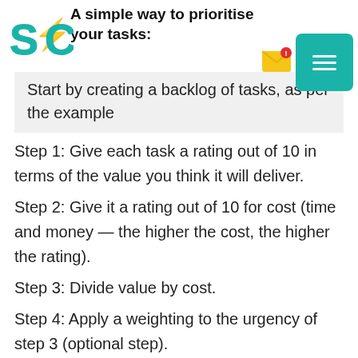A simple way to prioritise your tasks:
[Figure (logo): SfC logo with teal and yellow lightning bolt lettering]
[Figure (other): Email notification icon with red alert badge]
[Figure (other): Teal rounded square menu button with hamburger icon]
Start by creating a backlog of tasks, as per the example
Step 1: Give each task a rating out of 10 in terms of the value you think it will deliver.
Step 2: Give it a rating out of 10 for cost (time and money — the higher the cost, the higher the rating).
Step 3: Divide value by cost.
Step 4: Apply a weighting to the urgency of step 3 (optional step).